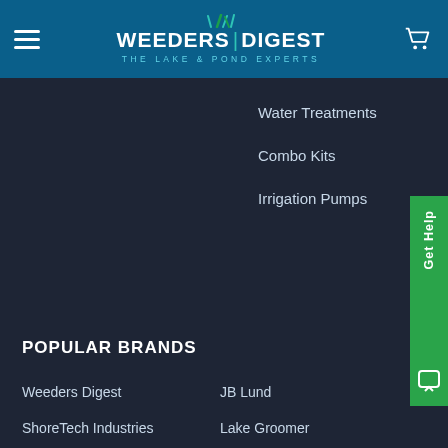WEEDERS DIGEST | THE LAKE & POND EXPERTS
Water Treatments
Combo Kits
Irrigation Pumps
POPULAR BRANDS
Weeders Digest
JB Lund
ShoreTech Industries
Lake Groomer
Wave Armor
Digger Anchor
Kasco Marine
Deep Freeze
Beach Groomer
View All